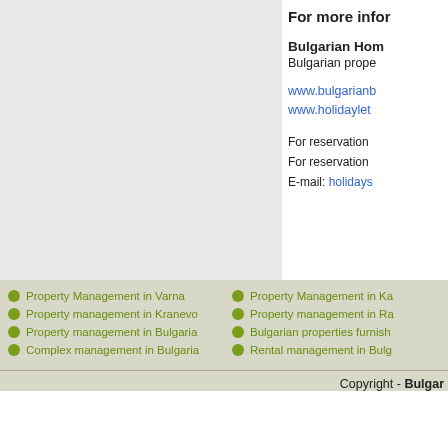For more infor
Bulgarian Hom
Bulgarian prope
www.bulgarianb
www.holidaylet
For reservation
For reservation
E-mail: holidays
Property Management in Varna
Property management in Kranevo
Property management in Bulgaria
Complex management in Bulgaria
Property Management in Ka
Property management in Ra
Bulgarian properties furnish
Rental management in Bulg
Copyright - Bulgar